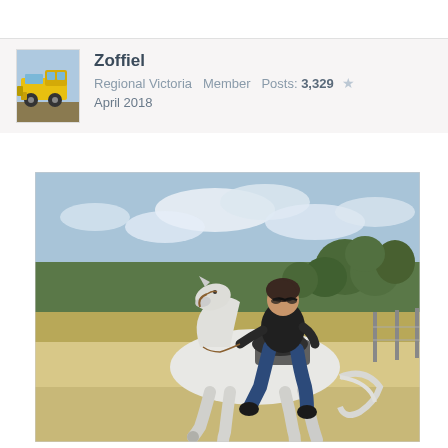[Figure (photo): Avatar/profile image showing a yellow truck or jeep]
Zoffiel
Regional Victoria  Member  Posts: 3,329  ★
April 2018
[Figure (photo): A woman riding a white horse in an outdoor arena with trees and a fence in the background, wearing black top and jeans]